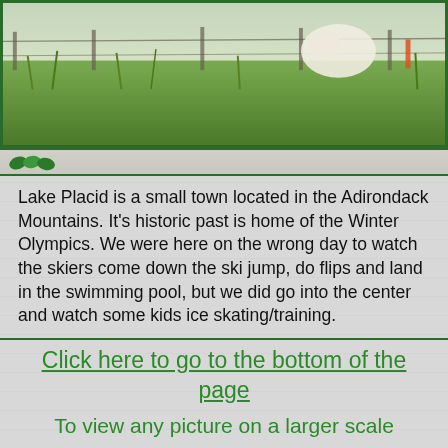[Figure (photo): Outdoor photo showing a white animal (possibly a goat or sheep) in a field with green grass, fencing, and overcast sky]
Lake Placid is a small town located in the Adirondack Mountains. It's historic past is home of the Winter Olympics. We were here on the wrong day to watch the skiers come down the ski jump, do flips and land in the swimming pool, but we did go into the center and watch some kids ice skating/training.
Click here to go to the bottom of the page
To view any picture on a larger scale